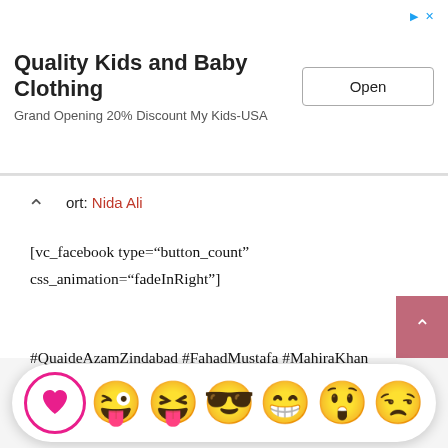[Figure (screenshot): Advertisement banner for Quality Kids and Baby Clothing with Open button]
ort: Nida Ali
[vc_facebook type="button_count" css_animation="fadeInRight"]
#QuaideAzamZindabad #FahadMustafa #MahiraKhan #FahadMustafaMahiraKhanMovie
Share Your Reaction?
[Figure (illustration): Emoji reaction bar with heart, wink, tongue, sunglasses, laughing, surprised, and sad emojis]